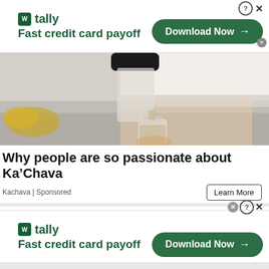[Figure (screenshot): Tally advertisement banner: logo with 'tally' and 'Fast credit card payoff' tagline, Download Now button, close icons]
[Figure (photo): Person in white crop top pouring a smoothie/shake from a blender jar into a glass bottle, kitchen background with bananas]
Why people are so passionate about Ka’Chava
Kachava | Sponsored
[Figure (screenshot): Second Tally advertisement banner: logo with 'tally' and 'Fast credit card payoff' tagline, Download Now button, close icons]
[Figure (screenshot): Bottom gray area placeholder]